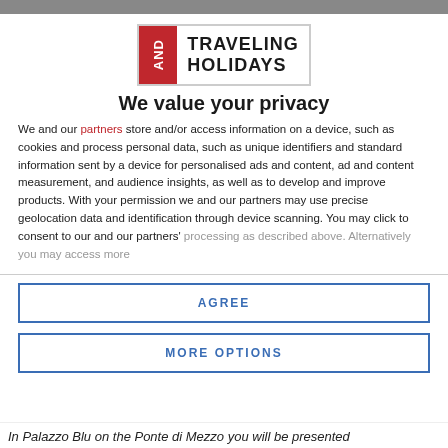[Figure (logo): AND Traveling Holidays logo — red square with 'AND' text vertically, next to bold text 'TRAVELING HOLIDAYS']
We value your privacy
We and our partners store and/or access information on a device, such as cookies and process personal data, such as unique identifiers and standard information sent by a device for personalised ads and content, ad and content measurement, and audience insights, as well as to develop and improve products. With your permission we and our partners may use precise geolocation data and identification through device scanning. You may click to consent to our and our partners' processing as described above. Alternatively you may access more
AGREE
MORE OPTIONS
In Palazzo Blu on the Ponte di Mezzo you will be presented